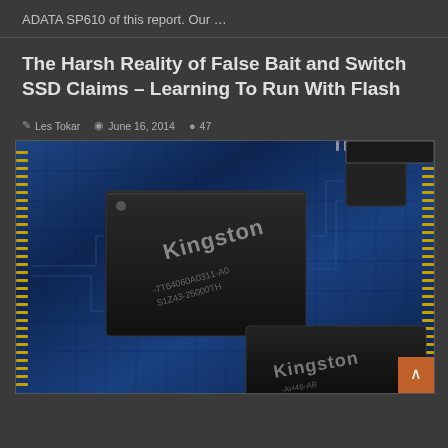ADATA SP610 of this report. Our …
The Harsh Reality of False Bait and Switch SSD Claims – Learning To Run With Flash
Les Tokar   June 16, 2014   47
[Figure (photo): Close-up photo of a Kingston branded NAND flash memory chip mounted on a blue PCB circuit board. The chip label reads 'Kingston' with part numbers visible.]